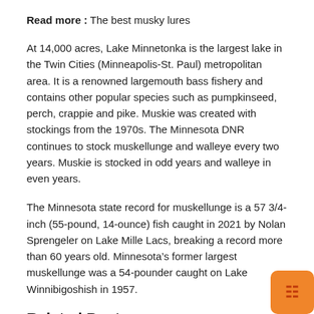Read more : The best musky lures
At 14,000 acres, Lake Minnetonka is the largest lake in the Twin Cities (Minneapolis-St. Paul) metropolitan area. It is a renowned largemouth bass fishery and contains other popular species such as pumpkinseed, perch, crappie and pike. Muskie was created with stockings from the 1970s. The Minnesota DNR continues to stock muskellunge and walleye every two years. Muskie is stocked in odd years and walleye in even years.
The Minnesota state record for muskellunge is a 57 3/4-inch (55-pound, 14-ounce) fish caught in 2021 by Nolan Sprengeler on Lake Mille Lacs, breaking a record more than 60 years old. Minnesota’s former largest muskellunge was a 54-pounder caught on Lake Winnibigoshish in 1957.
Related Posts:
Football fish: A monstrous-looking fish normally sits thousands of feet deep in the ocean washed up on a California beach